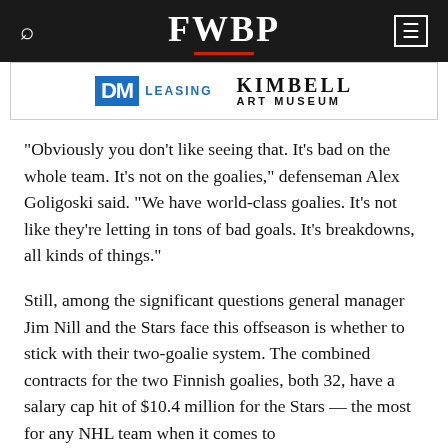FWBP
[Figure (logo): Advertisement banner showing two logos: DM Leasing in blue and Kimbell Art Museum in black serif text]
“Obviously you don’t like seeing that. It’s bad on the whole team. It’s not on the goalies,” defenseman Alex Goligoski said. “We have world-class goalies. It’s not like they’re letting in tons of bad goals. It’s breakdowns, all kinds of things.”
Still, among the significant questions general manager Jim Nill and the Stars face this offseason is whether to stick with their two-goalie system. The combined contracts for the two Finnish goalies, both 32, have a salary cap hit of $10.4 million for the Stars — the most for any NHL team when it comes to